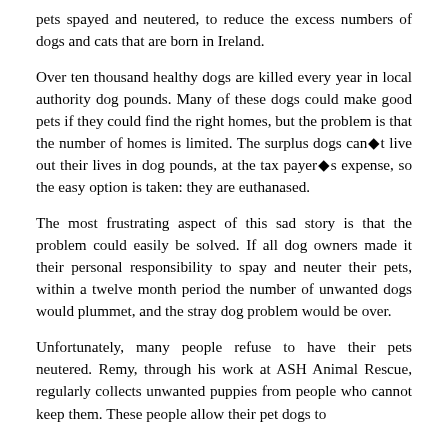pets spayed and neutered, to reduce the excess numbers of dogs and cats that are born in Ireland.
Over ten thousand healthy dogs are killed every year in local authority dog pounds. Many of these dogs could make good pets if they could find the right homes, but the problem is that the number of homes is limited. The surplus dogs can◆t live out their lives in dog pounds, at the tax payer◆s expense, so the easy option is taken: they are euthanased.
The most frustrating aspect of this sad story is that the problem could easily be solved. If all dog owners made it their personal responsibility to spay and neuter their pets, within a twelve month period the number of unwanted dogs would plummet, and the stray dog problem would be over.
Unfortunately, many people refuse to have their pets neutered. Remy, through his work at ASH Animal Rescue, regularly collects unwanted puppies from people who cannot keep them. These people allow their pet dogs to